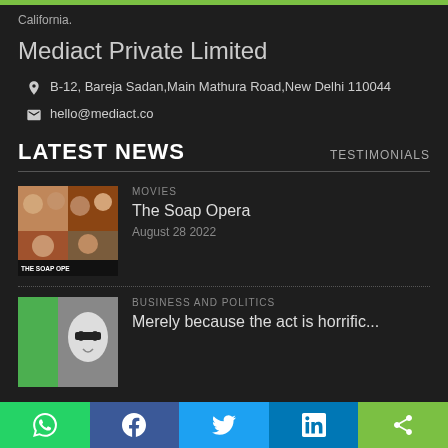California.
Mediact Private Limited
B-12, Bareja Sadan,Main Mathura Road,New Delhi 110044
hello@mediact.co
LATEST NEWS
TESTIMONIALS
MOVIES
The Soap Opera
August 28 2022
[Figure (photo): Thumbnail image for The Soap Opera movie with text label at bottom]
BUSINESS AND POLITICS
Merely because the act is horrific...
[Figure (photo): Thumbnail image with green background and face for business and politics article]